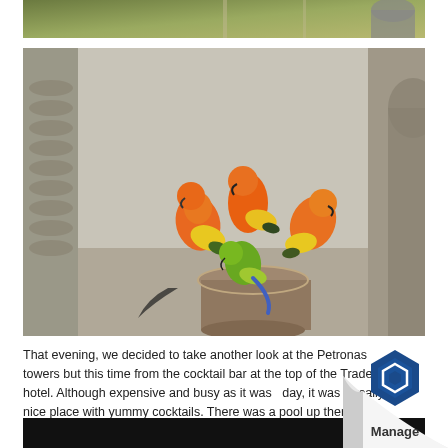[Figure (photo): Partial view of a green leafy outdoor area with wooden fence, top strip of image]
[Figure (photo): Four orange and yellow sun conure parrots perched on and around a terracotta pot/bucket in an outdoor area with stone/concrete surroundings]
That evening, we decided to take another look at the Petronas towers but this time from the cocktail bar at the top of the Traders hotel. Although expensive and busy as it was holiday, it was a really nice place with yummy cocktails. There was a pool up there too for hotel guests but it was closed while we were there although one guy did decide to go for a swim and was surrounded by security guards pretty quickly!
[Figure (photo): Bottom black strip of another photo, partially visible. Bottom right shows a page-curl effect with a blue hexagon 'Manage' logo.]